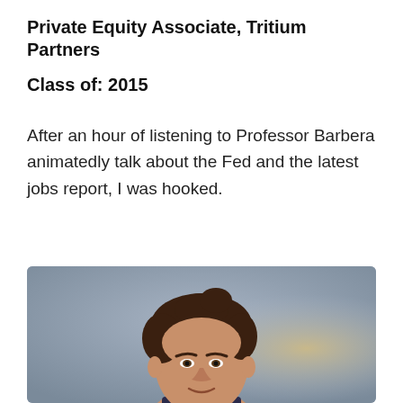Private Equity Associate, Tritium Partners
Class of: 2015
After an hour of listening to Professor Barbera animatedly talk about the Fed and the latest jobs report, I was hooked.
[Figure (photo): Headshot of a young man with brown hair, smiling slightly, on a blurred blue-gray background.]